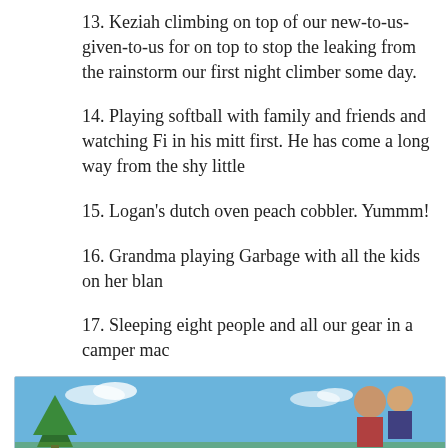13. Keziah climbing on top of our new-to-us-given-to-us for on top to stop the leaking from the rainstorm our first night climber some day.
14. Playing softball with family and friends and watching Fi in his mitt first. He has come a long way from the shy little
15. Logan's dutch oven peach cobbler. Yummm!
16. Grandma playing Garbage with all the kids on her blan
17. Sleeping eight people and all our gear in a camper mac
18. Scott holding Annesley, Jace, or Taz on an daily hourly b while games are played, meals are cooked, or older sibling uncle he is!
[Figure (photo): Bottom strip showing a partial outdoor photo with blue sky, a tree silhouette on the left, and people on the right]